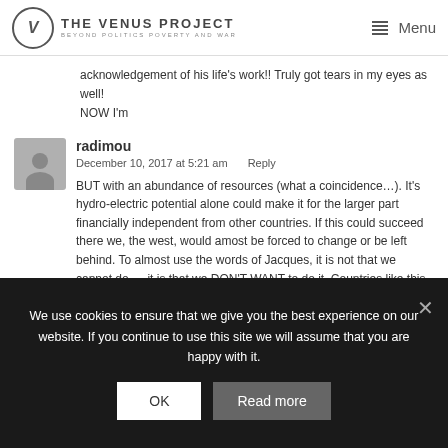THE VENUS PROJECT — BEYOND POLITICS POVERTY AND WAR | Menu
acknowledgement of his life's work!! Truly got tears in my eyes as well!
NOW I'm
radimou
December 10, 2017 at 5:21 am   Reply
BUT with an abundance of resources (what a coincidence…). It's hydro-electric potential alone could make it for the larger part financially independent from other countries. If this could succeed there we, the west, would amost be forced to change or be left behind. To almost use the words of Jacques, it is not that we cannot do…. it is that we DON'T WANT to do it. Countries like this could be the perfect canvas to begin drawing a new future for humanity it is a pleasure…
We use cookies to ensure that we give you the best experience on our website. If you continue to use this site we will assume that you are happy with it.